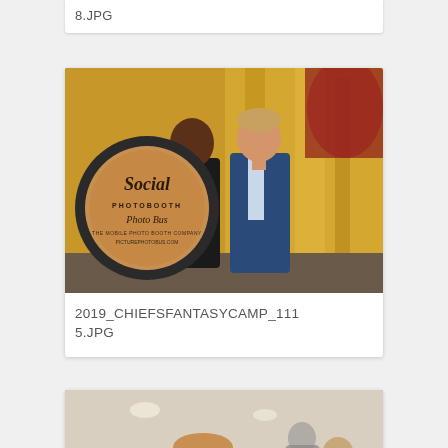8.JPG
[Figure (photo): Two men standing in front of a Social Photobooth Photo Bus circular sign against a gold sequin backdrop.]
2019_CHIEFSFANTASYCAMP_1115.JPG
[Figure (photo): Man in blue blazer holding a football at an indoor event venue with other attendees in background.]